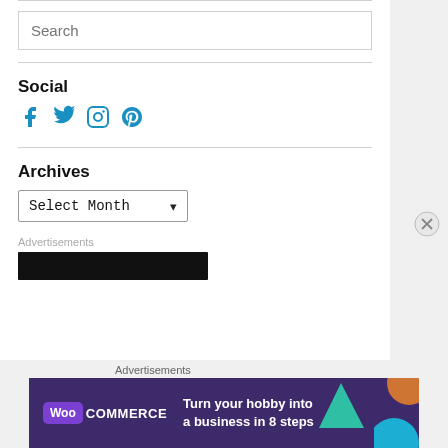Search
Social
[Figure (illustration): Social media icons: Facebook, Twitter, Instagram, Pinterest in blue]
Archives
Select Month
Advertisements
[Figure (other): Black advertisement bar]
Advertisements
[Figure (other): WooCommerce banner: Turn your hobby into a business in 8 steps]